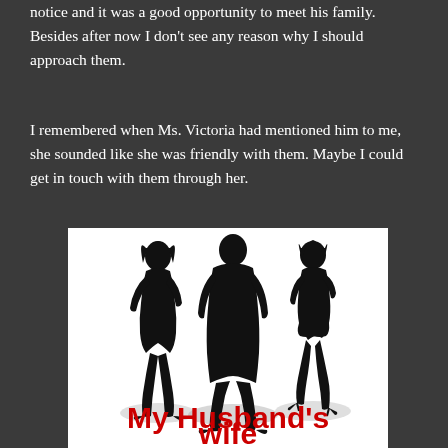notice and it was a good opportunity to meet his family. Besides after now I don't see any reason why I should approach them.
I remembered when Ms. Victoria had mentioned him to me, she sounded like she was friendly with them. Maybe I could get in touch with them through her.
[Figure (illustration): Book cover showing three black silhouettes (two women and one man in the center) on a white background with red bold text reading 'My Husband's wife']